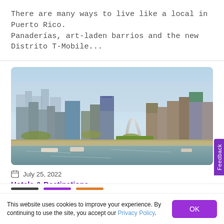There are many ways to live like a local in Puerto Rico. Panaderías, art-laden barrios and the new Distrito T-Mobile…
[Figure (photo): Aerial view of St. Louis skyline featuring the Gateway Arch, with the Mississippi River in the foreground and city buildings in the background.]
July 25, 2022
Hotels & Destinations
This website uses cookies to improve your experience. By continuing to use the site, you accept our Privacy Policy.